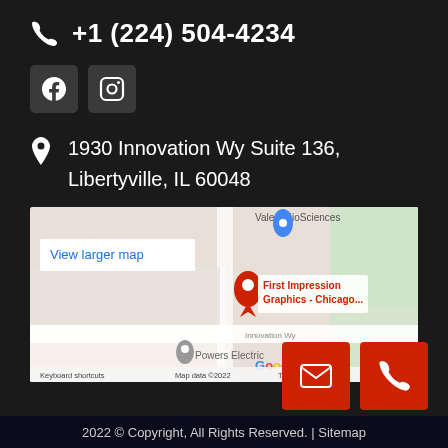+1 (224) 504-4234
[Figure (other): Facebook and Instagram social media icon buttons]
1930 Innovation Wy Suite 136,
Libertyville, IL 60048
[Figure (map): Google Maps screenshot showing location of First Impression Graphics - Chicago... on Innovation Wy, near Valent BioSciences and Powers Electric. Shows 'View larger map' link, Google logo, 'Keyboard shortcuts', 'Map data ©2022', 'Terms of Use']
[Figure (other): Red email icon button and red phone icon button]
2022 © Copyright, All Rights Reserved. | Sitemap